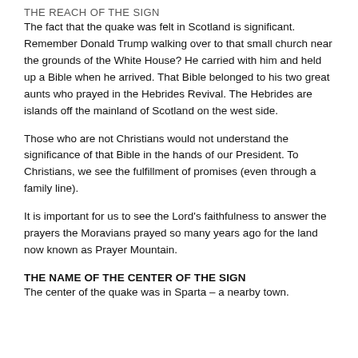THE REACH OF THE SIGN
The fact that the quake was felt in Scotland is significant. Remember Donald Trump walking over to that small church near the grounds of the White House? He carried with him and held up a Bible when he arrived. That Bible belonged to his two great aunts who prayed in the Hebrides Revival. The Hebrides are islands off the mainland of Scotland on the west side.
Those who are not Christians would not understand the significance of that Bible in the hands of our President. To Christians, we see the fulfillment of promises (even through a family line).
It is important for us to see the Lord's faithfulness to answer the prayers the Moravians prayed so many years ago for the land now known as Prayer Mountain.
THE NAME OF THE CENTER OF THE SIGN
The center of the quake was in Sparta – a nearby town.